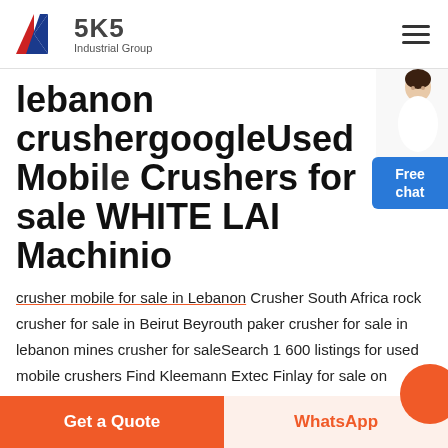SKS Industrial Group
lebanon crushergoogleUsed Mobile Crushers for sale WHITE LAI Machinio
crusher mobile for sale in Lebanon Crusher South Africa rock crusher for sale in Beirut Beyrouth paker crusher for sale in lebanon mines crusher for saleSearch 1 600 listings for used mobile crushers Find Kleemann Extec Finlay for sale on Machinio Skip to mobile crusher built with
Free chat
Get a Quote
WhatsApp